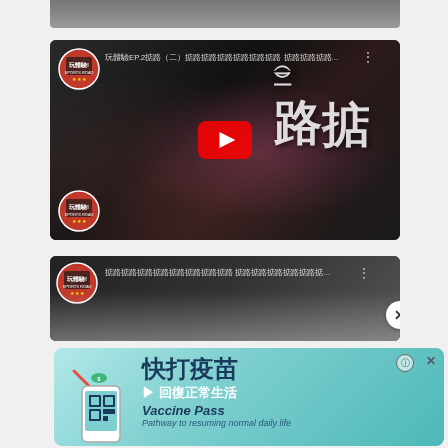[Figure (screenshot): Partial top edge of a YouTube video thumbnail showing a sports scene]
[Figure (screenshot): YouTube video thumbnail showing two people playing baseball/softball with masks on, with Chinese calligraphy text overlay reading 掂路(二), Sports Road EP.2 series, with YouTube play button]
[Figure (screenshot): Partial YouTube video thumbnail with Chinese text title and ×Jun... text, showing faces of people]
[Figure (screenshot): Advertisement banner: 快打疫苗 回復正常生活 Vaccine Pass - Pathway to resuming normal daily life, with phone illustration showing QR code]